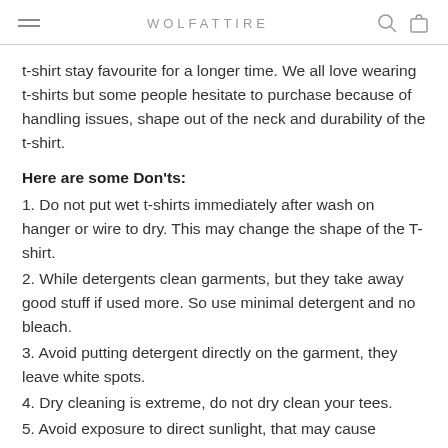WOLFATTIRE
t-shirt stay favourite for a longer time. We all love wearing t-shirts but some people hesitate to purchase because of handling issues, shape out of the neck and durability of the t-shirt.
Here are some Don'ts:
1. Do not put wet t-shirts immediately after wash on hanger or wire to dry. This may change the shape of the T-shirt.
2. While detergents clean garments, but they take away good stuff if used more. So use minimal detergent and no bleach.
3. Avoid putting detergent directly on the garment, they leave white spots.
4. Dry cleaning is extreme, do not dry clean your tees.
5. Avoid exposure to direct sunlight, that may cause